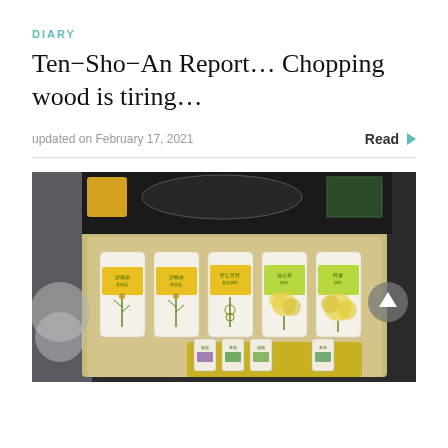DIARY
Ten-Sho-An Report… Chopping wood is tiring…
updated on February 17, 2021
Read ▶
[Figure (photo): A boxed gift set of Japanese canned beverages with botanical/herbal labels displayed in a beige/gold gift box. Upper row shows 5 tall cans with colorful plant illustrations; lower row shows smaller bottles. The box is set against a dark background with various packaging materials visible around it. A circular scroll-to-top button is visible on the right side of the image.]